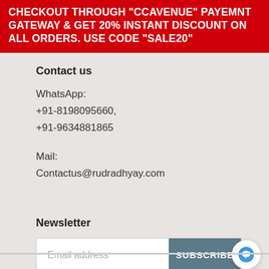CHECKOUT THROUGH "CCAVENUE" PAYEMNT GATEWAY & GET 20% INSTANT DISCOUNT ON ALL ORDERS. USE CODE "SALE20"
Contact us
WhatsApp:
+91-8198095660,
+91-9634881865
Mail:
Contactus@rudradhyay.com
Newsletter
[Figure (other): Email address input box with SUBSCRIBE button and a chat bubble icon in lower right corner]